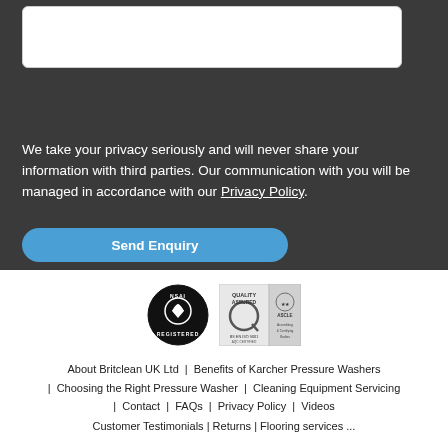[Figure (other): White textarea input box with rounded corners on dark background]
We take your privacy seriously and will never share your information with third parties. Our communication with you will be managed in accordance with our Privacy Policy.
[Figure (other): Blue rounded Send Enquiry button]
[Figure (logo): NSAI Registered certification logo (black circle with heart/diamond shape)]
[Figure (logo): Quality Assured BS EN ISO 9001 and ASCLE logos]
About Britclean UK Ltd | Benefits of Karcher Pressure Washers | Choosing the Right Pressure Washer | Cleaning Equipment Servicing | Contact | FAQs | Privacy Policy | Videos
Customer Testimonials | Returns | Flooring services ...